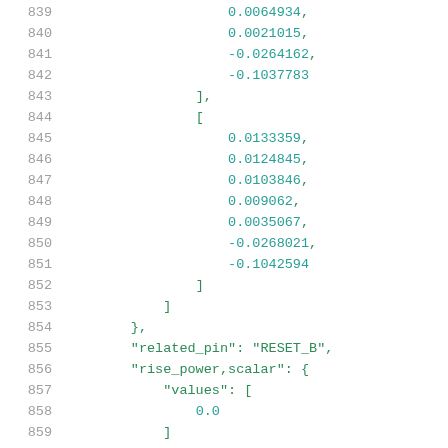Code listing lines 839-859 showing numeric array values and JSON key-value pairs for related_pin, rise_power scalar, and values fields.